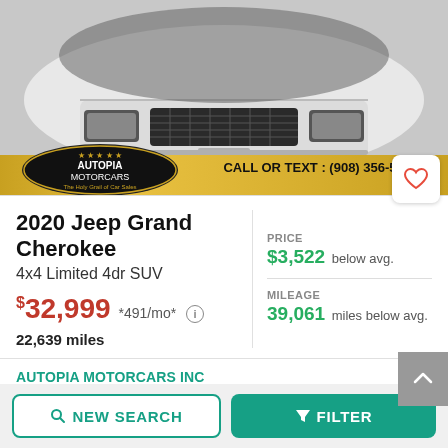[Figure (photo): Front view of a white Jeep Grand Cherokee at a dealership with Autopia MotorCars logo and banner reading CALL OR TEXT: (908) 356-5[...]]
2020 Jeep Grand Cherokee
4x4 Limited 4dr SUV
$32,999 *491/mo* 22,639 miles
PRICE $3,522 below avg.
MILEAGE 39,061 miles below avg.
AUTOPIA MOTORCARS INC
Union, NJ
Get a Free Vehicle History Report
NEW SEARCH
FILTER